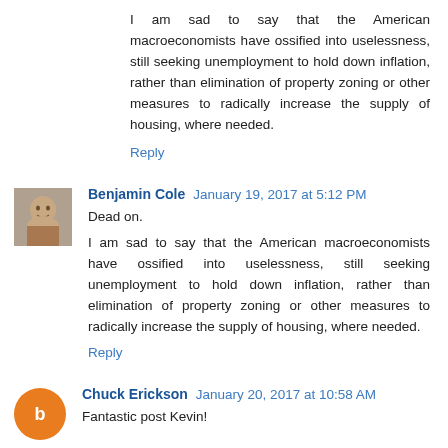I am sad to say that the American macroeconomists have ossified into uselessness, still seeking unemployment to hold down inflation, rather than elimination of property zoning or other measures to radically increase the supply of housing, where needed.
Reply
Benjamin Cole  January 19, 2017 at 5:12 PM
Dead on.
I am sad to say that the American macroeconomists have ossified into uselessness, still seeking unemployment to hold down inflation, rather than elimination of property zoning or other measures to radically increase the supply of housing, where needed.
Reply
Chuck Erickson  January 20, 2017 at 10:58 AM
Fantastic post Kevin!